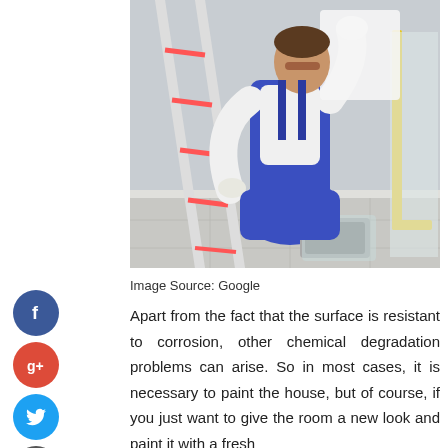[Figure (photo): A man in blue overalls kneeling on the floor next to a ladder, pressing a white sheet against a wall. A paint tray wrapped in plastic and yellow-framed plastic sheeting are visible in the background.]
Image Source: Google
Apart from the fact that the surface is resistant to corrosion, other chemical degradation problems can arise. So in most cases, it is necessary to paint the house, but of course, if you just want to give the room a new look and paint it with a fresh